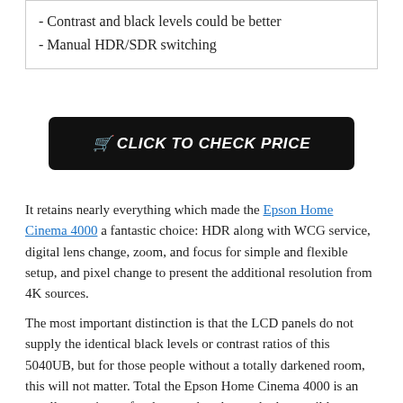- Contrast and black levels could be better
- Manual HDR/SDR switching
[Figure (other): Black button with shopping cart icon and text CLICK TO CHECK PRICE]
It retains nearly everything which made the Epson Home Cinema 4000 a fantastic choice: HDR along with WCG service, digital lens change, zoom, and focus for simple and flexible setup, and pixel change to present the additional resolution from 4K sources.
The most important distinction is that the LCD panels do not supply the identical black levels or contrast ratios of this 5040UB, but for those people without a totally darkened room, this will not matter. Total the Epson Home Cinema 4000 is an excellent projector for the cost, but those who have mild controlled rooms need to step until the 5040UB.
Design Of  Epson Home Cinema 4000
It's true broad color gamut support whilst everything else in this price